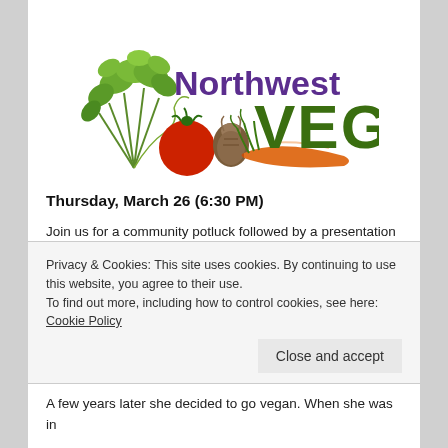[Figure (logo): Northwest VEG logo with illustrated vegetables (herbs, tomato, garlic, carrot). 'Northwest' in bold purple, 'VEG' in large bold dark green.]
Thursday, March 26 (6:30 PM)
Join us for a community potluck followed by a presentation on Traditional Chinese Medicine Perspective on Healthly Vegan Living by Genevieve Johnson, L.Ac., acupuncturist and herbalist. Genevieve will also give us a demonstration of how to balance our foods using a Chinese Medicine Perspective.
Privacy & Cookies: This site uses cookies. By continuing to use this website, you agree to their use.
To find out more, including how to control cookies, see here: Cookie Policy
A few years later she decided to go vegan. When she was in